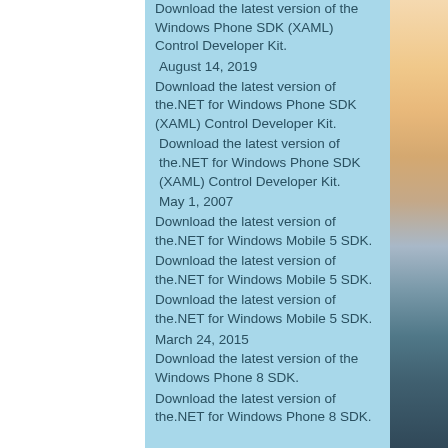Download the latest version of the Windows Phone SDK (XAML) Control Developer Kit.
August 14, 2019
Download the latest version of the.NET for Windows Phone SDK (XAML) Control Developer Kit.
Download the latest version of the.NET for Windows Phone SDK (XAML) Control Developer Kit.
May 1, 2007
Download the latest version of the.NET for Windows Mobile 5 SDK.
Download the latest version of the.NET for Windows Mobile 5 SDK.
Download the latest version of the.NET for Windows Mobile 5 SDK.
March 24, 2015
Download the latest version of the Windows Phone 8 SDK.
Download the latest version of the.NET for Windows Phone 8 SDK.